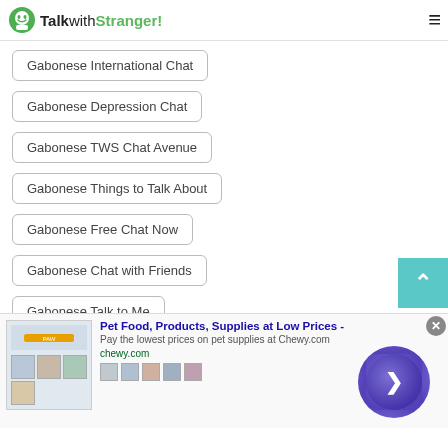TalkwithStranger!
Gabonese International Chat
Gabonese Depression Chat
Gabonese TWS Chat Avenue
Gabonese Things to Talk About
Gabonese Free Chat Now
Gabonese Chat with Friends
Gabonese Talk to Me
Gabonese Start Chatting
[Figure (screenshot): Advertisement banner for Chewy.com: Pet Food, Products, Supplies at Low Prices. Pay the lowest prices on pet supplies at Chewy.com. chewy.com]